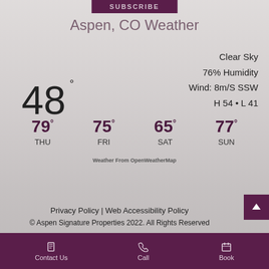SUBSCRIBE
Aspen, CO Weather
48°
Clear Sky
76% Humidity
Wind: 8m/S SSW
H 54 • L 41
79° THU   75° FRI   65° SAT   77° SUN
Weather From OpenWeatherMap
Privacy Policy | Web Accessibility Policy
© Aspen Signature Properties 2022. All Rights Reserved
Contact Us   Call   Book